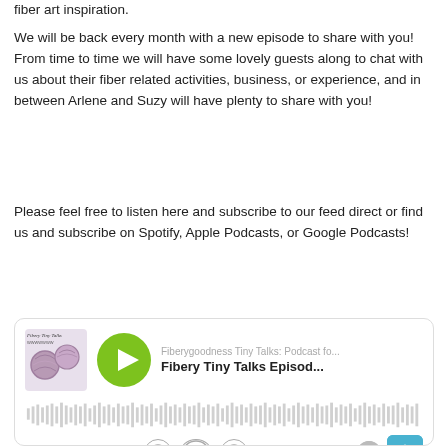fiber art inspiration.
We will be back every month with a new episode to share with you! From time to time we will have some lovely guests along to chat with us about their fiber related activities, business, or experience, and in between Arlene and Suzy will have plenty to share with you!
Please feel free to listen here and subscribe to our feed direct or find us and subscribe on Spotify, Apple Podcasts, or Google Podcasts!
[Figure (screenshot): A podcast player widget showing 'Fiberygoodness Tiny Talks: Podcast fo...' with episode title 'Fibery Tiny Talks Episod...' in bold, a green play button, album art showing yarn balls, a waveform scrubber, time display 00:00 | 48:14, playback controls (rewind 10, 1x speed, forward 30), info button, and a teal share button.]